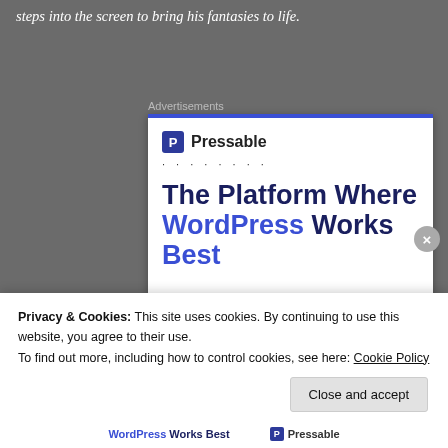steps into the screen to bring his fantasies to life.
Advertisements
[Figure (screenshot): Pressable advertisement: logo with dotted separator, headline 'The Platform Where WordPress Works Best', blue 'SEE PRICING' button]
Privacy & Cookies: This site uses cookies. By continuing to use this website, you agree to their use.
To find out more, including how to control cookies, see here: Cookie Policy
Close and accept
WordPress Works Best  Pressable